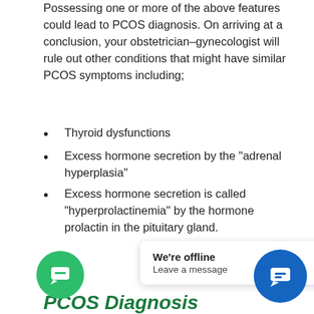Possessing one or more of the above features could lead to PCOS diagnosis. On arriving at a conclusion, your obstetrician–gynecologist will rule out other conditions that might have similar PCOS symptoms including;
Thyroid dysfunctions
Excess hormone secretion by the “adrenal hyperplasia”
Excess hormone secretion is called “hyperprolactinemia” by the hormone prolactin in the pituitary gland.
PCOS Diagnosis